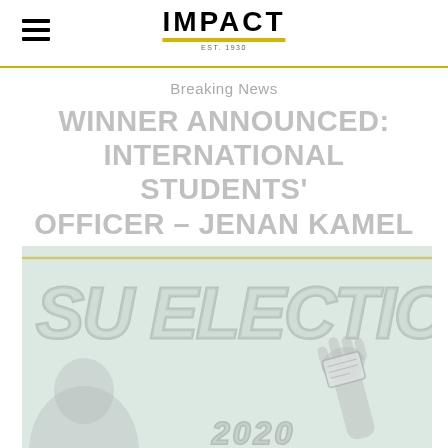IMPACT — est. 1930
Breaking News
WINNER ANNOUNCED: INTERNATIONAL STUDENTS' OFFICER – JENAN KAMEL
[Figure (illustration): SU Elections 2020 banner illustration with silhouettes and a hand placing a ballot, light mint green background with text 'SU ELECTIONS' in large gray outlined letters and '2020' at the bottom.]